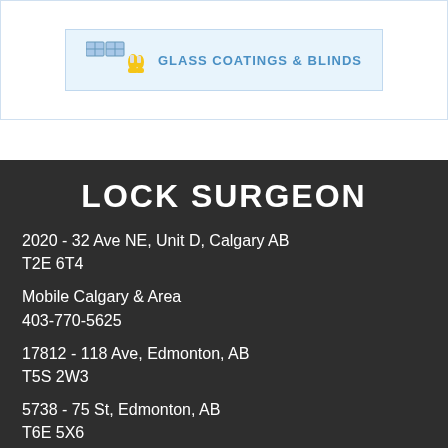[Figure (logo): Logo with icons and text: GLASS COATINGS & BLINDS]
LOCK SURGEON
2020 - 32 Ave NE, Unit D, Calgary AB
T2E 6T4
Mobile Calgary & Area
403-770-5625
17812 - 118 Ave, Edmonton, AB
T5S 2W3
5738 - 75 St, Edmonton, AB
T6E 5X6
Mobile Edmonton & Area